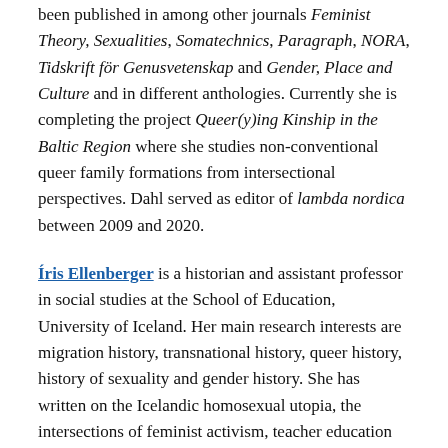been published in among other journals Feminist Theory, Sexualities, Somatechnics, Paragraph, NORA, Tidskrift för Genusvetenskap and Gender, Place and Culture and in different anthologies. Currently she is completing the project Queer(y)ing Kinship in the Baltic Region where she studies non-conventional queer family formations from intersectional perspectives. Dahl served as editor of lambda nordica between 2009 and 2020.
Íris Ellenberger is a historian and assistant professor in social studies at the School of Education, University of Iceland. Her main research interests are migration history, transnational history, queer history, history of sexuality and gender history. She has written on the Icelandic homosexual utopia, the intersections of feminist activism, teacher education and love between women in early 20th century Iceland and lesbian feminism in Iceland in the 1980s. She has also co-created a queer guide, The Rainbow